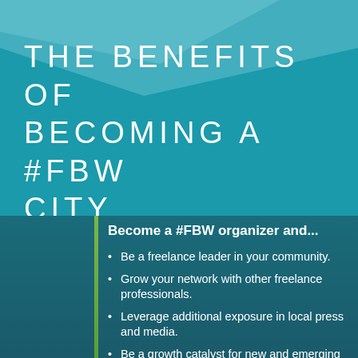THE BENEFITS OF BECOMING A #FBW CITY ORGANIZER
Become a #FBW organizer and...
Be a freelance leader in your community.
Grow your network with other freelance professionals.
Leverage additional exposure in local press and media.
Be a growth catalyst for new and emerging freelancers.